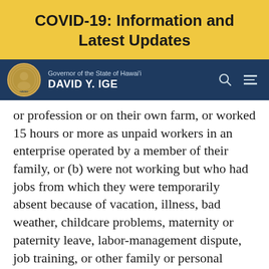COVID-19: Information and Latest Updates
Governor of the State of Hawai'i DAVID Y. IGE
or profession or on their own farm, or worked 15 hours or more as unpaid workers in an enterprise operated by a member of their family, or (b) were not working but who had jobs from which they were temporarily absent because of vacation, illness, bad weather, childcare problems, maternity or paternity leave, labor-management dispute, job training, or other family or personal reasons, whether or not they were paid for the time off or were seeking other jobs. Each employed person is counted only once, even if he or she holds more than one job.